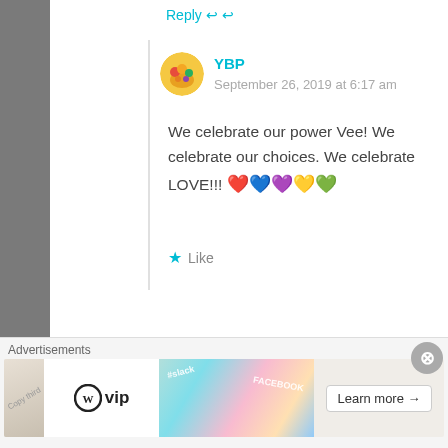Reply
YBP
September 26, 2019 at 6:17 am
We celebrate our power Vee! We celebrate our choices. We celebrate LOVE!!! ❤️💙💜💛💚
Like
YBP
Advertisements
Learn more →